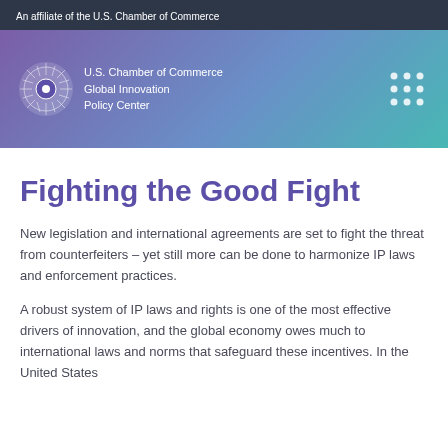An affiliate of the U.S. Chamber of Commerce
[Figure (logo): U.S. Chamber of Commerce Global Innovation Policy Center logo with circular emblem and dot grid decoration on banner]
Fighting the Good Fight
New legislation and international agreements are set to fight the threat from counterfeiters – yet still more can be done to harmonize IP laws and enforcement practices.
A robust system of IP laws and rights is one of the most effective drivers of innovation, and the global economy owes much to international laws and norms that safeguard these incentives. In the United States